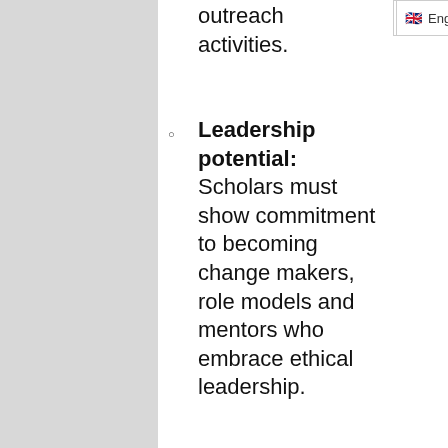outreach activities.
Leadership potential: Scholars must show commitment to becoming change makers, role models and mentors who embrace ethical leadership.
Must be interested in, and meet USIU admissions criteria and academic qualifications to undertake, any of the approved 11 undergraduate degree program for the Scholars Program at USIU Africa as